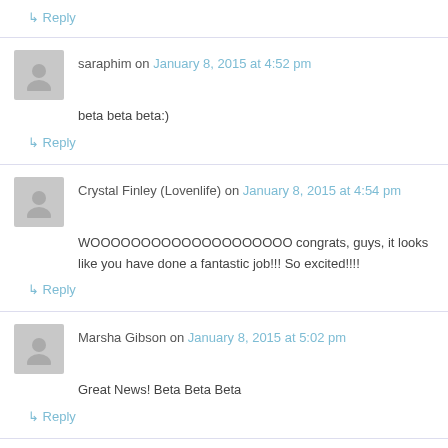↳ Reply
saraphim on January 8, 2015 at 4:52 pm
beta beta beta:)
↳ Reply
Crystal Finley (Lovenlife) on January 8, 2015 at 4:54 pm
WOOOOOOOOOOOOOOOOOOOO congrats, guys, it looks like you have done a fantastic job!!! So excited!!!!
↳ Reply
Marsha Gibson on January 8, 2015 at 5:02 pm
Great News! Beta Beta Beta
↳ Reply
Pingback: RunicPortal » Eleven alpha tester: Game is 'identical to